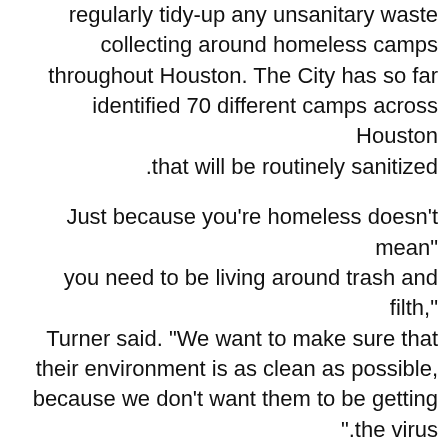regularly tidy-up any unsanitary waste collecting around homeless camps throughout Houston. The City has so far identified 70 different camps across Houston that will be routinely sanitized.
"Just because you're homeless doesn't mean you need to be living around trash and filth," Turner said. "We want to make sure that their environment is as clean as possible, because we don't want them to be getting the virus".
"The homeless are not only more likely to catch COVID, but they're also more likely to experience severe symptoms," said Marc Eichenbaum, Special Assistant to the Mayor for Homeless Initiatives. He said this was